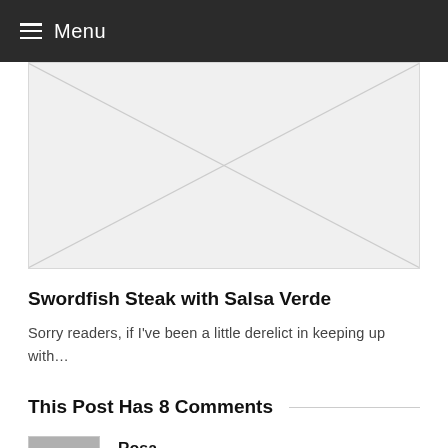≡ Menu
[Figure (photo): Placeholder image with grey background and diagonal lines forming an X pattern]
Swordfish Steak with Salsa Verde
Sorry readers, if I've been a little derelict in keeping up with…
This Post Has 8 Comments
Rosa
November 7, 2016 at 8:01 am